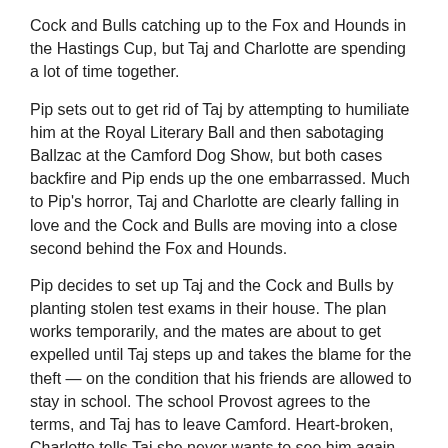Cock and Bulls catching up to the Fox and Hounds in the Hastings Cup, but Taj and Charlotte are spending a lot of time together.
Pip sets out to get rid of Taj by attempting to humiliate him at the Royal Literary Ball and then sabotaging Ballzac at the Camford Dog Show, but both cases backfire and Pip ends up the one embarrassed. Much to Pip's horror, Taj and Charlotte are clearly falling in love and the Cock and Bulls are moving into a close second behind the Fox and Hounds.
Pip decides to set up Taj and the Cock and Bulls by planting stolen test exams in their house. The plan works temporarily, and the mates are about to get expelled until Taj steps up and takes the blame for the theft — on the condition that his friends are allowed to stay in school. The school Provost agrees to the terms, and Taj has to leave Camford. Heart-broken, Charlotte tells Taj she never wants to see him again.
The mates are now left to compete in the final event of the Hastings Cup without their fearless leader. But when Charlotte finds evidence that proves Taj's innocence, she and Taj rush to the Hastings Cup, just in time for Taj to compete against Pip in the final